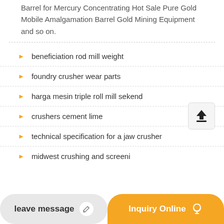Barrel for Mercury Concentrating Hot Sale Pure Gold Mobile Amalgamation Barrel Gold Mining Equipment and so on.
beneficiation rod mill weight
foundry crusher wear parts
harga mesin triple roll mill sekend
crushers cement lime
technical specification for a jaw crusher
midwest crushing and screeni
leave message
Inquiry Online